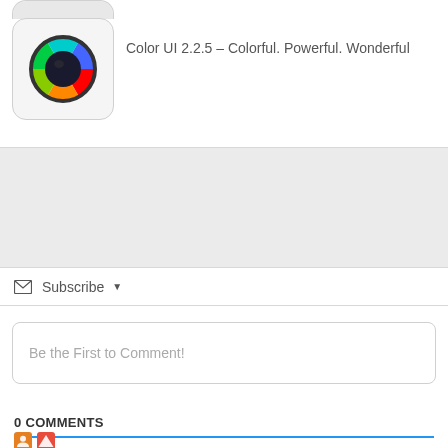[Figure (screenshot): Partial app icon at top, cut off]
[Figure (screenshot): Color UI app icon showing a color wheel with rainbow spectrum on white rounded square background]
Color UI 2.2.5 – Colorful. Powerful. Wonderful
Subscribe ▾
Be the First to Comment!
0 COMMENTS